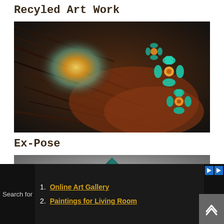Recyled Art Work
[Figure (photo): Close-up artistic photo of hair with colorful light burst (orange/yellow) and teal/blue flowers on the right side]
Ex-Pose
[Figure (photo): Partial photo showing a dark teal/green geometric shape (pyramid-like) on a gray textured background]
Search for
1. Online Art Gallery
2. Paintings for Living Room